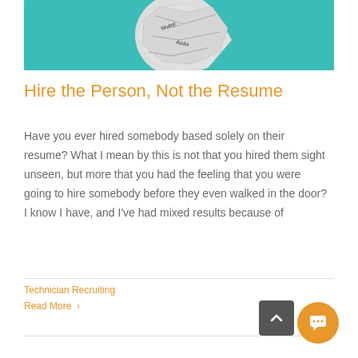[Figure (photo): Crumpled paper ball on a teal/turquoise background with text visible on the paper]
Hire the Person, Not the Resume
Have you ever hired somebody based solely on their resume? What I mean by this is not that you hired them sight unseen, but more that you had the feeling that you were going to hire somebody before they even walked in the door? I know I have, and I've had mixed results because of
Technician Recruiting
Read More >